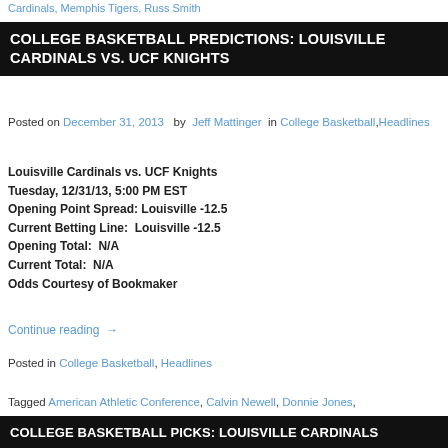Cardinals, Memphis Tigers, Russ Smith
COLLEGE BASKETBALL PREDICTIONS: LOUISVILLE CARDINALS VS. UCF KNIGHTS
Posted on December 31, 2013 by Jeff Mattinger in College Basketball, Headlines
Louisville Cardinals vs. UCF Knights
Tuesday, 12/31/13, 5:00 PM EST
Opening Point Spread: Louisville -12.5
Current Betting Line:  Louisville -12.5
Opening Total:  N/A
Current Total:  N/A
Odds Courtesy of Bookmaker
Continue reading →
Posted in College Basketball, Headlines
Tagged American Athletic Conference, Calvin Newell, Donnie Jones, Louisville Cardinals, Russ Smith, UCF Knights
COLLEGE BASKETBALL PICKS: LOUISVILLE CARDINALS